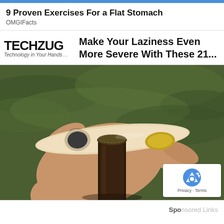9 Proven Exercises For a Flat Stomach
OMGIFacts
Make Your Laziness Even More Severe With These 21...
[Figure (photo): A hand using a wooden ergonomic bottle opener to open a dark glass beer bottle, photographed outdoors with green grass background.]
Sponsored Links